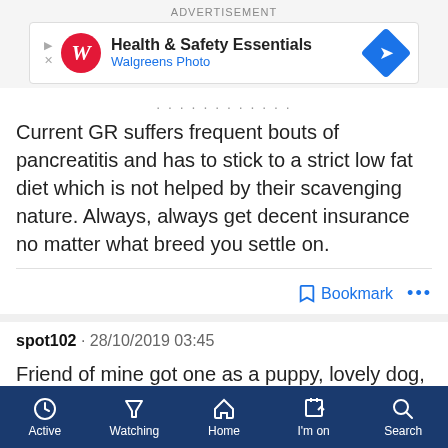[Figure (other): Walgreens Health & Safety Essentials advertisement banner with Walgreens Photo logo and blue arrow icon]
Current GR suffers frequent bouts of pancreatitis and has to stick to a strict low fat diet which is not helped by their scavenging nature. Always, always get decent insurance no matter what breed you settle on.
Bookmark •••
spot102 · 28/10/2019 03:45
Friend of mine got one as a puppy, lovely dog, but at as an adolescent (dog) she struggles to control it. It's large, lively and strong. I daresay with age and training it will improve,
Active  Watching  Home  I'm on  Search